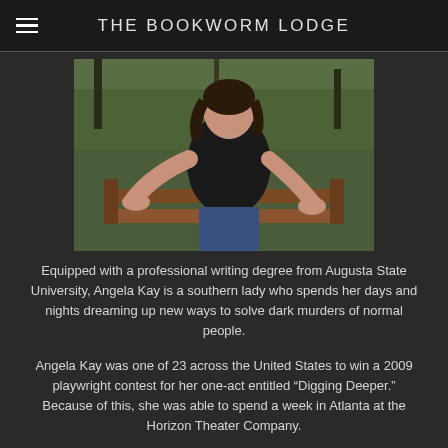THE BOOKWORM LODGE
[Figure (photo): Woman in black tank top sitting on a wooden bench outdoors with green trees in background]
Equipped with a professional writing degree from Augusta State University, Angela Kay is a southern lady who spends her days and nights dreaming up new ways to solve dark murders of normal people.
Angela Kay was one of 23 across the United States to win a 2009 playwright contest for her one-act entitled “Digging Deeper.” Because of this, she was able to spend a week in Atlanta at the Horizon Theater Company.